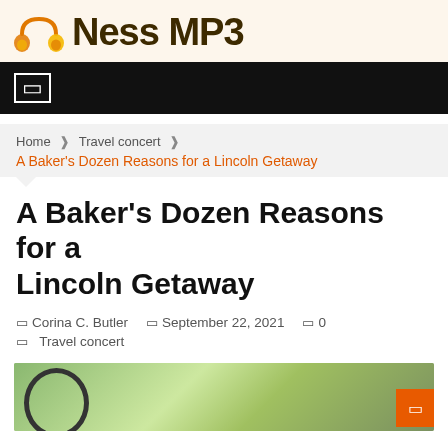[Figure (logo): Ness MP3 logo with orange headphones icon and bold dark text]
☰ navigation bar
Home ❯ Travel concert ❯ A Baker's Dozen Reasons for a Lincoln Getaway
A Baker's Dozen Reasons for a Lincoln Getaway
Corina C. Butler   September 22, 2021   0   Travel concert
[Figure (photo): Outdoor photo showing what appears to be a large circular sculpture or wheel structure with trees in background]